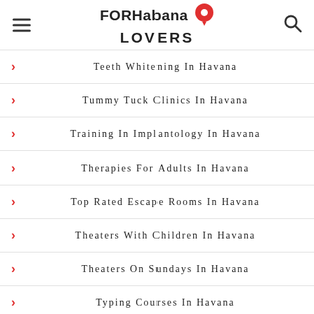[Figure (logo): FORHabana LOVERS logo with red map pin icon]
Teeth Whitening In Havana
Tummy Tuck Clinics In Havana
Training In Implantology In Havana
Therapies For Adults In Havana
Top Rated Escape Rooms In Havana
Theaters With Children In Havana
Theaters On Sundays In Havana
Typing Courses In Havana